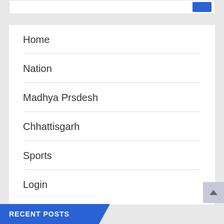Home
Nation
Madhya Prsdesh
Chhattisgarh
Sports
Login
RECENT POSTS